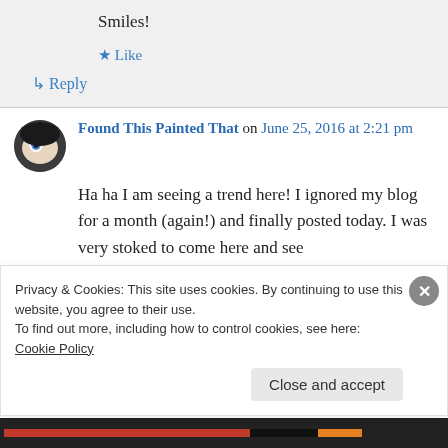Smiles!
★ Like
↳ Reply
Found This Painted That on June 25, 2016 at 2:21 pm
Ha ha I am seeing a trend here! I ignored my blog for a month (again!) and finally posted today. I was very stoked to come here and see
Privacy & Cookies: This site uses cookies. By continuing to use this website, you agree to their use.
To find out more, including how to control cookies, see here: Cookie Policy
Close and accept